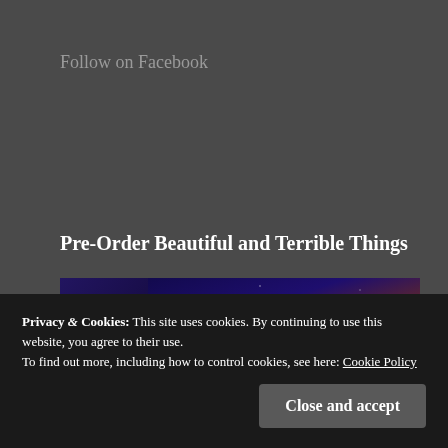Follow on Facebook
Pre-Order Beautiful and Terrible Things
[Figure (illustration): Book banner showing 'beautiful and terrible' book cover on the left and text 'COMING SEPTEMBER 2020' on a dark starry background]
Privacy & Cookies: This site uses cookies. By continuing to use this website, you agree to their use.
To find out more, including how to control cookies, see here: Cookie Policy
Close and accept